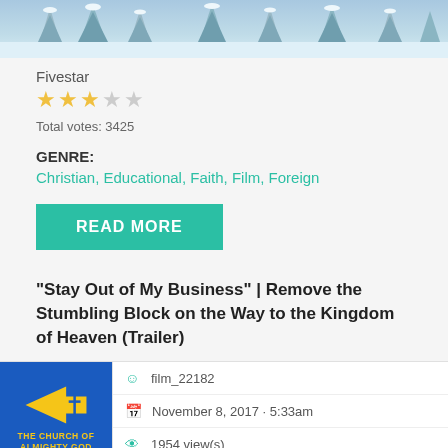[Figure (photo): Winter landscape banner with snow-covered pine trees and blue-tinted sky]
Fivestar
[Figure (other): Star rating: 3 filled stars and 2 empty stars]
Total votes: 3425
GENRE:
Christian, Educational, Faith, Film, Foreign
READ MORE
"Stay Out of My Business" | Remove the Stumbling Block on the Way to the Kingdom of Heaven (Trailer)
[Figure (logo): The Church of Almighty God logo - blue background with yellow arrow and cross symbol]
film_22182
November 8, 2017 · 5:33am
1954 view(s)